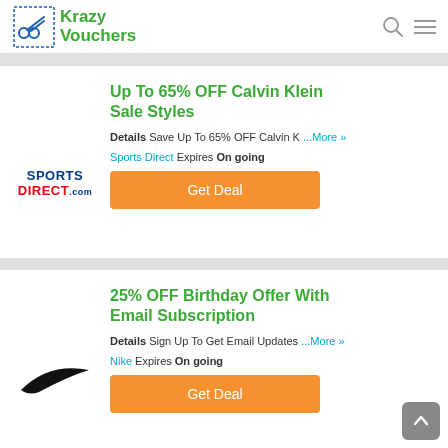Krazy Vouchers
Up To 65% OFF Calvin Klein Sale Styles
Details Save Up To 65% OFF Calvin K ...More »
Sports Direct Expires On going
Get Deal
25% OFF Birthday Offer With Email Subscription
Details Sign Up To Get Email Updates ...More »
Nike Expires On going
Get Deal